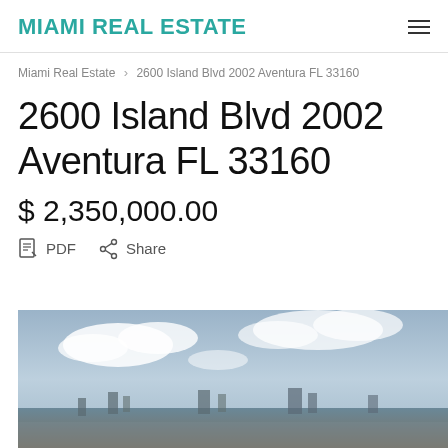MIAMI REAL ESTATE
Miami Real Estate > 2600 Island Blvd 2002 Aventura FL 33160
2600 Island Blvd 2002 Aventura FL 33160
$ 2,350,000.00
PDF  Share
[Figure (photo): Aerial or skyline photo of Aventura Florida waterfront with clouds in the sky and city buildings visible in the lower portion]